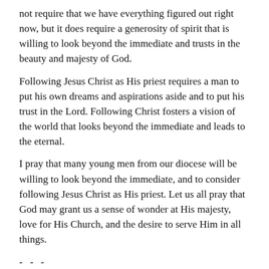not require that we have everything figured out right now, but it does require a generosity of spirit that is willing to look beyond the immediate and trusts in the beauty and majesty of God.
Following Jesus Christ as His priest requires a man to put his own dreams and aspirations aside and to put his trust in the Lord. Following Christ fosters a vision of the world that looks beyond the immediate and leads to the eternal.
I pray that many young men from our diocese will be willing to look beyond the immediate, and to consider following Jesus Christ as His priest. Let us all pray that God may grant us a sense of wonder at His majesty, love for His Church, and the desire to serve Him in all things.
- - -
[Figure (photo): Portrait photo of Father Jonathan Wallis, a middle-aged man with short blond/grey hair, wearing clerical black attire with white collar, smiling, with a large ornate golden crucifix visible in the background.]
Ordained to the priesthood in 2007, Father Jonathan Wallis, STL, serves as Vicar General, Director of Seminarian Formation, and Chaplain & Director of Newman Center at TCU for the Diocese of Fort Worth.